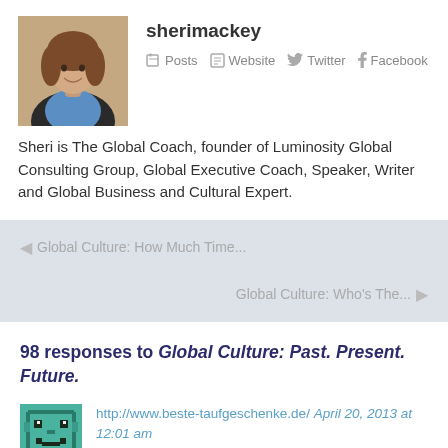[Figure (photo): Profile photo of a woman (Sheri Mackey) with shoulder-length brown hair, wearing a blue top and dark jacket]
sherimackey
Posts  Website  Twitter  Facebook
Sheri is The Global Coach, founder of Luminosity Global Consulting Group, Global Executive Coach, Speaker, Writer and Global Business and Cultural Expert.
◀ Global Culture: How Much Time...
Global Culture: Who's The... ▶
98 responses to Global Culture: Past. Present. Future.
[Figure (illustration): Green pixel-art avatar icon (generic user avatar with teal/green blocky face design)]
http://www.beste-taufgeschenke.de/  April 20, 2013 at 12:01 am
Greetings from Florida! I'm bored at work so I decided